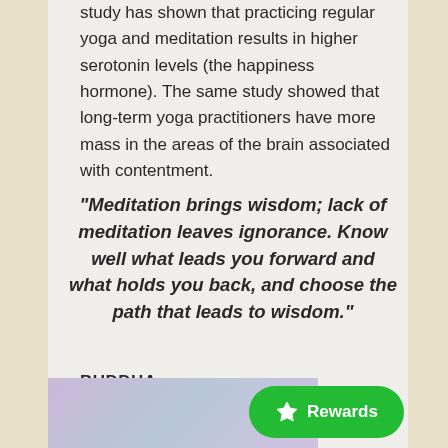study has shown that practicing regular yoga and meditation results in higher serotonin levels (the happiness hormone). The same study showed that long-term yoga practitioners have more mass in the areas of the brain associated with contentment.
"Meditation brings wisdom; lack of meditation leaves ignorance. Know well what leads you forward and what holds you back, and choose the path that leads to wisdom."
BUDDHA
[Figure (illustration): Partial lavender/purple gradient image visible at bottom of page with a green Rewards button overlay]